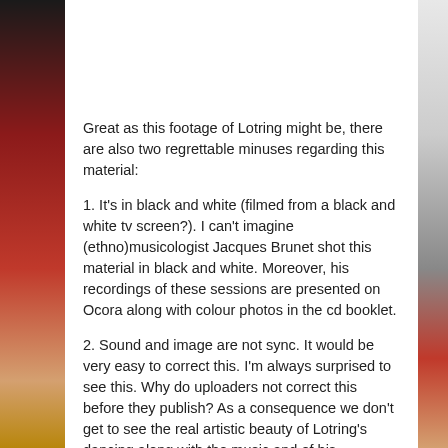Great as this footage of Lotring might be, there are also two regrettable minuses regarding this material:
1. It's in black and white (filmed from a black and white tv screen?). I can't imagine (ethno)musicologist Jacques Brunet shot this material in black and white. Moreover, his recordings of these sessions are presented on Ocora along with colour photos in the cd booklet.
2. Sound and image are not sync. It would be very easy to correct this. I'm always surprised to see this. Why do uploaders not correct this before they publish? As a consequence we don't get to see the real artistic beauty of Lotring's dancing along with the music and of his (drum)playing with the orchestra. Ooooww!!! ☹
HOME